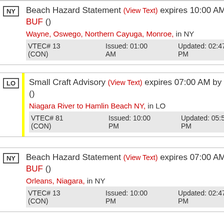NY Beach Hazard Statement (View Text) expires 10:00 AM by BUF () Wayne, Oswego, Northern Cayuga, Monroe, in NY VTEC# 13 (CON) Issued: 01:00 AM Updated: 02:47 PM
LO Small Craft Advisory (View Text) expires 07:00 AM by BUF () Niagara River to Hamlin Beach NY, in LO VTEC# 81 (CON) Issued: 10:00 PM Updated: 05:57 PM
NY Beach Hazard Statement (View Text) expires 07:00 AM by BUF () Orleans, Niagara, in NY VTEC# 13 (CON) Issued: 10:00 PM Updated: 02:47 PM